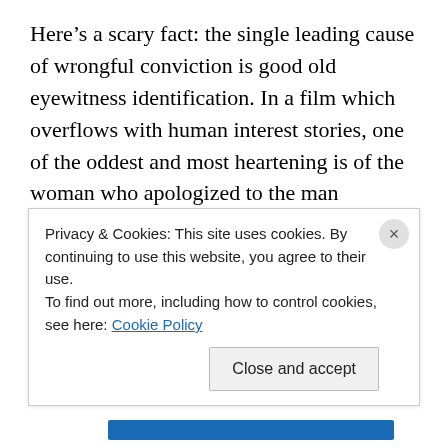Here’s a scary fact: the single leading cause of wrongful conviction is good old eyewitness identification. In a film which overflows with human interest stories, one of the oddest and most heartening is of the woman who apologized to the man imprisoned by her testimony. They got to be friends, and she became an activist too. She tells an audience, “Change one person’s life and you change the world.”
We need to get back to where “presumption of innocence”
meant something, say the proponents of what some call
Privacy & Cookies: This site uses cookies. By continuing to use this website, you agree to their use.
To find out more, including how to control cookies, see here: Cookie Policy